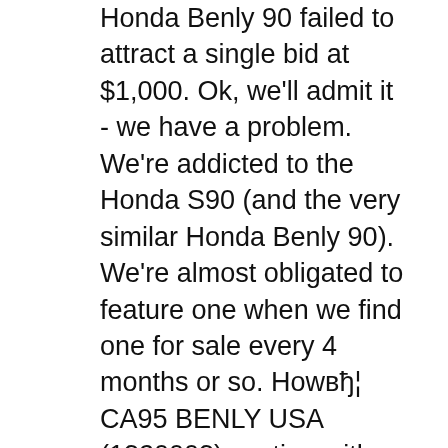Honda Benly 90 failed to attract a single bid at $1,000. Ok, we'll admit it - we have a problem. We're addicted to the Honda S90 (and the very similar Honda Benly 90). We're almost obligated to feature one when we find one for sale every 4 months or so. How…  CA95 BENLY USA (1320003) section with fourteen Engine, twenty-four Frame, one Other schematic pages. To discover exactly which parts you require use the on-line schematic exploded diagram - it will even give you some idea of where and how to fit those new parts.
Find many great new & used options and get the best deals for Honda 305 Dream Scrambler C77 CA77 CB77 CL77